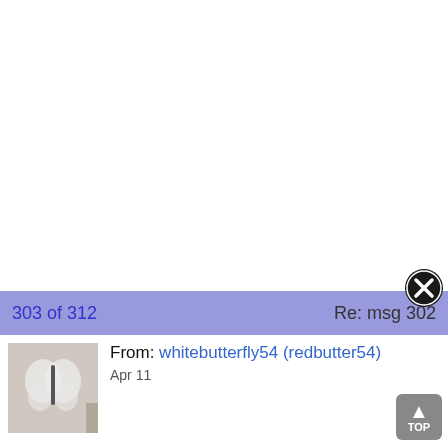303 of 312    Re: msg 302
[Figure (screenshot): Close button (X in circle) overlay on navigation bar]
From: whitebutterfly54 (redbutter54)
Apr 11
[Figure (photo): Small avatar thumbnail of a butterfly]